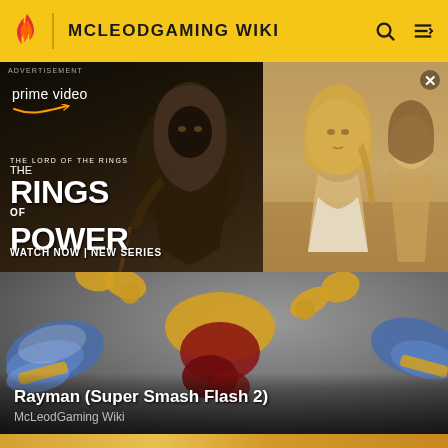MCLEODGAMING WIKI
[Figure (screenshot): Amazon Prime Video advertisement for The Lord of the Rings: The Rings of Power. Left side shows dark fantasy figure with text 'prime video', 'THE LORD OF THE RINGS', 'THE RINGS OF POWER', 'WATCH NOW | NEW SERIES'. Right side shows a blonde woman and other characters from the show.]
[Figure (screenshot): McLeodGaming Wiki featured article card showing Rayman from Super Smash Flash 2 character artwork on a grey background]
Rayman (Super Smash Flash 2)
McLeodGaming Wiki